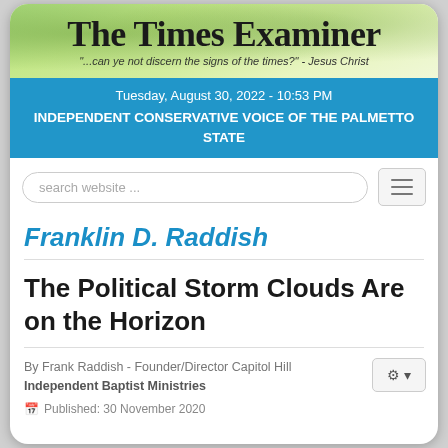The Times Examiner
"...can ye not discern the signs of the times?" - Jesus Christ
Tuesday, August 30, 2022 - 10:53 PM
INDEPENDENT CONSERVATIVE VOICE OF THE PALMETTO STATE
Franklin D. Raddish
The Political Storm Clouds Are on the Horizon
By Frank Raddish - Founder/Director Capitol Hill Independent Baptist Ministries
Published: 30 November 2020